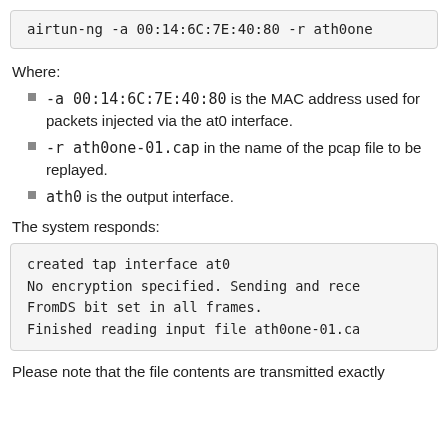airtun-ng -a 00:14:6C:7E:40:80 -r ath0one
Where:
-a 00:14:6C:7E:40:80 is the MAC address used for packets injected via the at0 interface.
-r ath0one-01.cap in the name of the pcap file to be replayed.
ath0 is the output interface.
The system responds:
created tap interface at0
No encryption specified. Sending and rece
FromDS bit set in all frames.
Finished reading input file ath0one-01.ca
Please note that the file contents are transmitted exactly